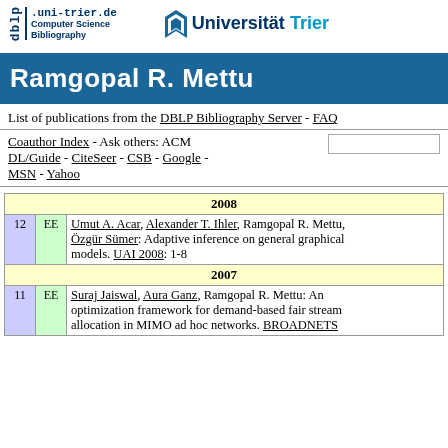[Figure (logo): DBLP .uni-trier.de Computer Science Bibliography logo on the left, Universität Trier logo on the right]
Ramgopal R. Mettu
List of publications from the DBLP Bibliography Server - FAQ
Coauthor Index - Ask others: ACM DL/Guide - CiteSeer - CSB - Google - MSN - Yahoo
| # | EE | Reference |
| --- | --- | --- |
| 2008 |  |  |
| 12 | EE | Umut A. Acar, Alexander T. Ihler, Ramgopal R. Mettu, Özgür Sümer: Adaptive inference on general graphical models. UAI 2008: 1-8 |
| 2007 |  |  |
| 11 | EE | Suraj Jaiswal, Aura Ganz, Ramgopal R. Mettu: An optimization framework for demand-based fair stream allocation in MIMO ad hoc networks. BROADNETS |